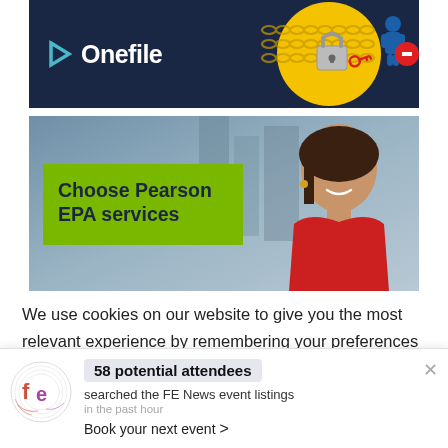[Figure (illustration): OneFile logo banner with dark navy background, white logo text with teal arrow, and a gold padlock with chain illustration on the right]
[Figure (illustration): Pearson EPA services banner with smiling professional woman in red jacket on right, green box on left with bold text 'Choose Pearson EPA services']
We use cookies on our website to give you the most relevant experience by remembering your preferences and repeat visits. By clicking “Accept”, you consent to
[Figure (infographic): FE News notification popup: FE logo on left, text '58 potential attendees searched the FE News event listings in the past hour. Book your next event >']